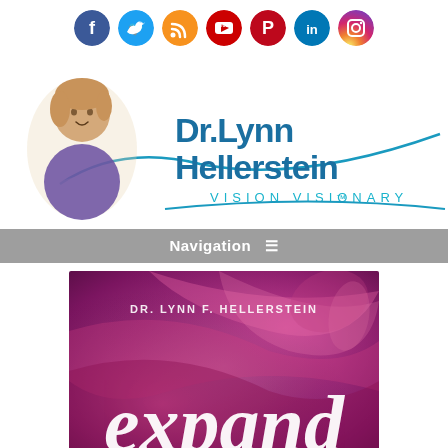[Figure (screenshot): Social media icons row: Facebook (blue), Twitter (cyan), RSS (orange), YouTube (red), Pinterest (red), LinkedIn (blue), Instagram (gradient purple-orange)]
[Figure (logo): Dr. Lynn Hellerstein Vision Visionary logo with photo of woman in purple jacket, blue wave swoosh, name in blue and teal text]
Navigation ≡
[Figure (photo): Book cover 'expand' by Dr. Lynn F. Hellerstein with purple/pink abstract swirl background and large white script text 'expand']